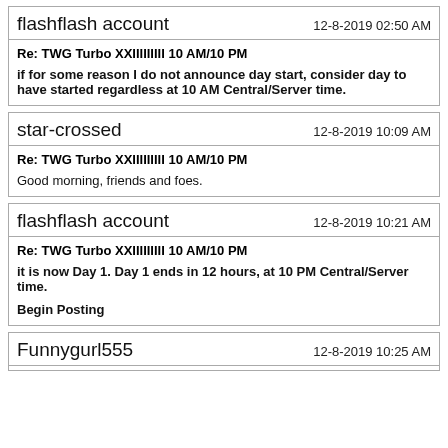flashflash account | 12-8-2019 02:50 AM
Re: TWG Turbo XXIIIIIII 10 AM/10 PM
if for some reason I do not announce day start, consider day to have started regardless at 10 AM Central/Server time.
star-crossed | 12-8-2019 10:09 AM
Re: TWG Turbo XXIIIIIII 10 AM/10 PM
Good morning, friends and foes.
flashflash account | 12-8-2019 10:21 AM
Re: TWG Turbo XXIIIIIII 10 AM/10 PM
it is now Day 1. Day 1 ends in 12 hours, at 10 PM Central/Server time.
Begin Posting
Funnygurl555 | 12-8-2019 10:25 AM